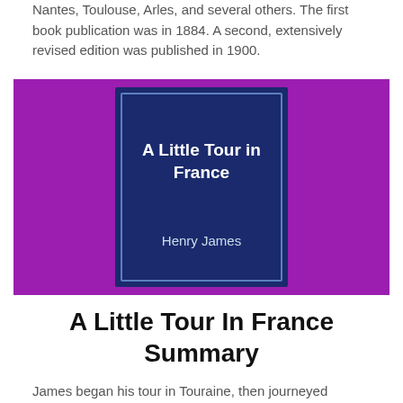Nantes, Toulouse, Arles, and several others. The first book publication was in 1884. A second, extensively revised edition was published in 1900.
[Figure (illustration): Book cover of 'A Little Tour in France' by Henry James. Purple/magenta background with a dark navy blue book cover centered. The book cover displays the title 'A Little Tour in France' in white bold text at the top and 'Henry James' in white text at the bottom, with a light blue border around the cover.]
A Little Tour In France Summary
James began his tour in Touraine, then journeyed